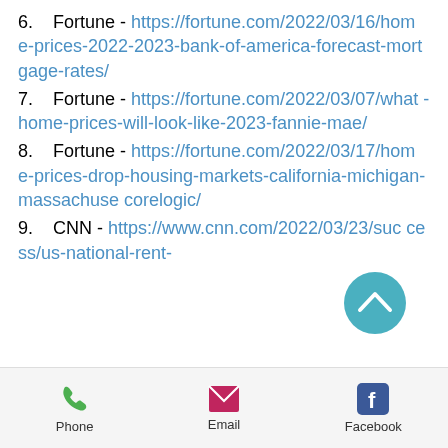6.    Fortune - https://fortune.com/2022/03/16/home-prices-2022-2023-bank-of-america-forecast-mortgage-rates/
7.    Fortune - https://fortune.com/2022/03/07/what-home-prices-will-look-like-2023-fannie-mae/
8.    Fortune - https://fortune.com/2022/03/17/home-prices-drop-housing-markets-california-michigan-massachusetts-corelogic/
9.    CNN - https://www.cnn.com/2022/03/23/success/us-national-rent-
Phone   Email   Facebook